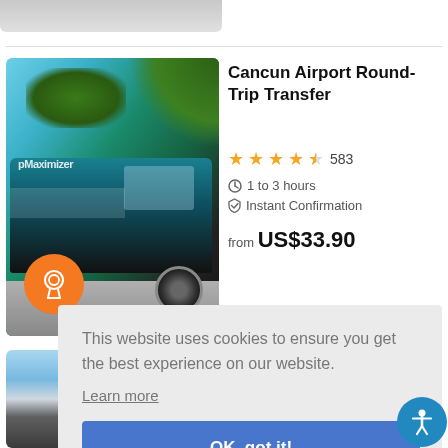[Figure (photo): Partial top of a teal shuttle van product listing image]
[Figure (photo): Teal Cancun airport transfer shuttle van with palm trees in background, orange badge with ribbon icon overlay]
Cancun Airport Round-Trip Transfer
★★★★½ 583
⏱ 1 to 3 hours
⚡ Instant Confirmation
from US$33.90
[Figure (photo): Partial second product listing image, bottom of page]
This website uses cookies to ensure you get the best experience on our website.
Learn more
OK, got it!